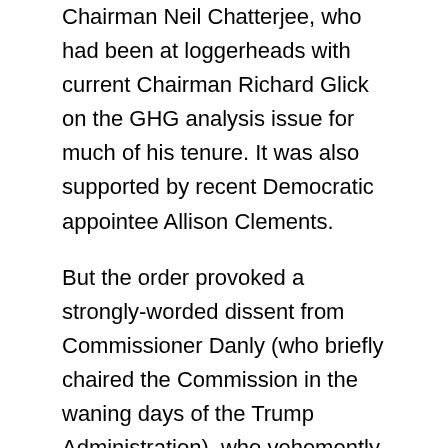Chairman Neil Chatterjee, who had been at loggerheads with current Chairman Richard Glick on the GHG analysis issue for much of his tenure. It was also supported by recent Democratic appointee Allison Clements.
But the order provoked a strongly-worded dissent from Commissioner Danly (who briefly chaired the Commission in the waning days of the Trump Administration), who vehemently disagreed with the new policy on a variety of grounds, both procedural and substantive. Commissioner Danly's dissent also includes what amounts to an industry call to action, in which he urges interested parties to intervene in every pipeline proceeding now open at FERC to push back on the new GHG policy.